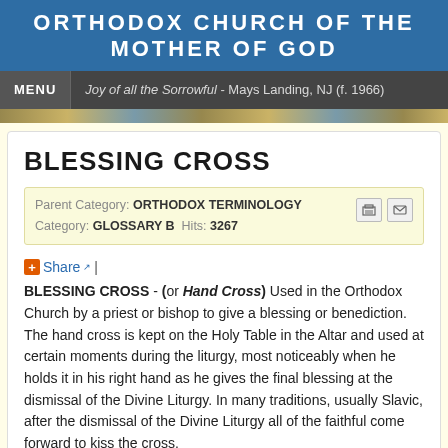ORTHODOX CHURCH OF THE MOTHER OF GOD
Joy of all the Sorrowful - Mays Landing, NJ (f. 1966)
BLESSING CROSS
Parent Category: ORTHODOX TERMINOLOGY   Category: GLOSSARY B  Hits: 3267
+ Share |
BLESSING CROSS - (or Hand Cross) Used in the Orthodox Church by a priest or bishop to give a blessing or benediction. The hand cross is kept on the Holy Table in the Altar and used at certain moments during the liturgy, most noticeably when he holds it in his right hand as he gives the final blessing at the dismissal of the Divine Liturgy. In many traditions, usually Slavic, after the dismissal of the Divine Liturgy all of the faithful come forward to kiss the cross.